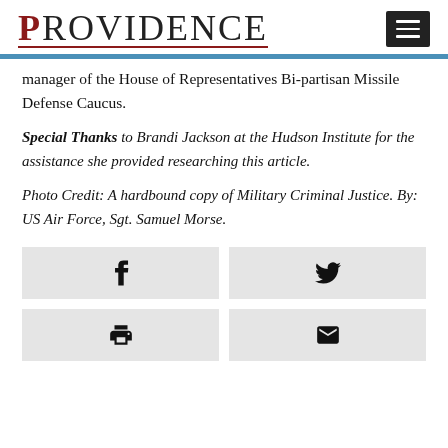PROVIDENCE
manager of the House of Representatives Bi-partisan Missile Defense Caucus.
Special Thanks to Brandi Jackson at the Hudson Institute for the assistance she provided researching this article.
Photo Credit: A hardbound copy of Military Criminal Justice. By: US Air Force, Sgt. Samuel Morse.
[Figure (other): Social share buttons: Facebook, Twitter, Print, Email]